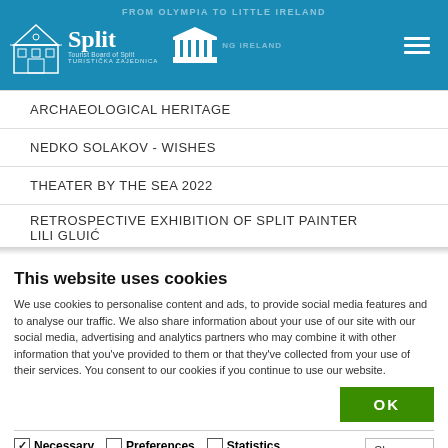[Figure (screenshot): Split Tourist Board website header with logo, building icon, and hamburger menu on blue background]
ARCHAEOLOGICAL HERITAGE
NEDKO SOLAKOV - WISHES
THEATER BY THE SEA 2022
RETROSPECTIVE EXHIBITION OF SPLIT PAINTER LILI GLUIĆ
This website uses cookies
We use cookies to personalise content and ads, to provide social media features and to analyse our traffic. We also share information about your use of our site with our social media, advertising and analytics partners who may combine it with other information that you've provided to them or that they've collected from your use of their services. You consent to our cookies if you continue to use our website.
OK
Necessary  Preferences  Statistics  Marketing  Show details